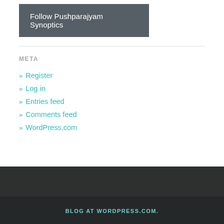Follow Pushparajyam Synoptics
META
» Register
» Log in
» Entries feed
» Comments feed
» WordPress.com
BLOG AT WORDPRESS.COM.